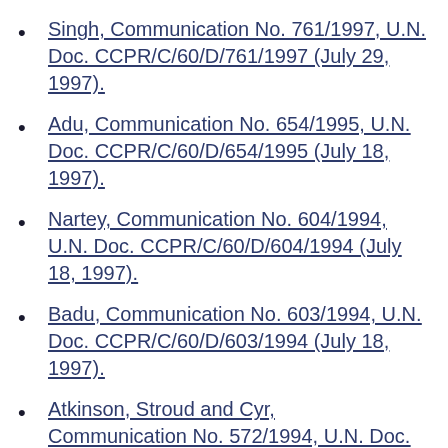Singh, Communication No. 761/1997, U.N. Doc. CCPR/C/60/D/761/1997 (July 29, 1997).
Adu, Communication No. 654/1995, U.N. Doc. CCPR/C/60/D/654/1995 (July 18, 1997).
Nartey, Communication No. 604/1994, U.N. Doc. CCPR/C/60/D/604/1994 (July 18, 1997).
Badu, Communication No. 603/1994, U.N. Doc. CCPR/C/60/D/603/1994 (July 18, 1997).
Atkinson, Stroud and Cyr, Communication No. 572/1994, U.N. Doc.